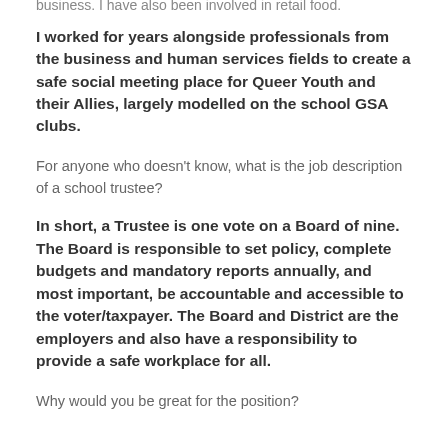business. I have also been involved in retail food.
I worked for years alongside professionals from the business and human services fields to create a safe social meeting place for Queer Youth and their Allies, largely modelled on the school GSA clubs.
For anyone who doesn't know, what is the job description of a school trustee?
In short, a Trustee is one vote on a Board of nine. The Board is responsible to set policy, complete budgets and mandatory reports annually, and most important, be accountable and accessible to the voter/taxpayer. The Board and District are the employers and also have a responsibility to provide a safe workplace for all.
Why would you be great for the position?